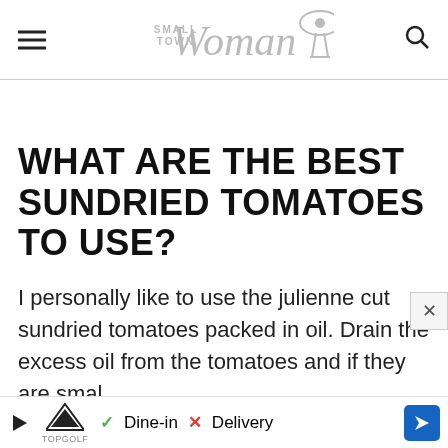Small Town Woman
WHAT ARE THE BEST SUNDRIED TOMATOES TO USE?
I personally like to use the julienne cut sundried tomatoes packed in oil. Drain the excess oil from the tomatoes and if they are smal
[Figure (other): Advertisement banner at the bottom: TopGolf logo with play button, checkmark Dine-in, X Delivery, blue navigation arrow button]